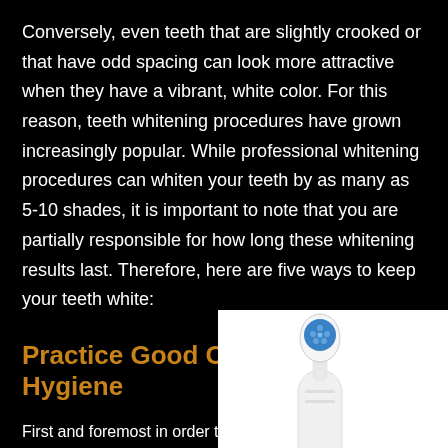Conversely, even teeth that are slightly crooked or that have odd spacing can look more attractive when they have a vibrant, white color. For this reason, teeth whitening procedures have grown increasingly popular. While professional whitening procedures can whiten your teeth by as many as 5-10 shades, it is important to note that you are partially responsible for how long these whitening results last. Therefore, here are five ways to keep your teeth white:
Practice Good Oral Hygiene
First and foremost in order to
[Figure (photo): Electric toothbrush head with blue bristles on a white background]